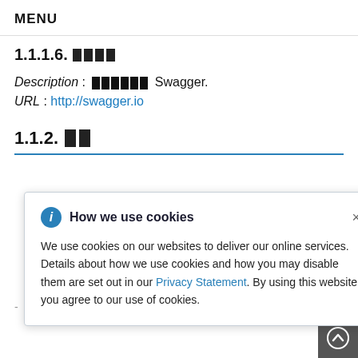MENU
1.1.1.6. [redacted]
Description : [redacted] Swagger.
URL : http://swagger.io
1.1.2. [redacted]
How we use cookies
We use cookies on our websites to deliver our online services. Details about how we use cookies and how you may disable them are set out in our Privacy Statement. By using this website you agree to our use of cookies.